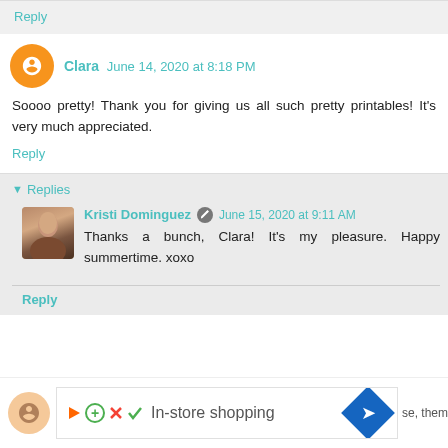Reply
Clara  June 14, 2020 at 8:18 PM
Soooo pretty! Thank you for giving us all such pretty printables! It's very much appreciated.
Reply
Replies
Kristi Dominguez  June 15, 2020 at 9:11 AM
Thanks a bunch, Clara! It's my pleasure. Happy summertime. xoxo
Reply
In-store shopping